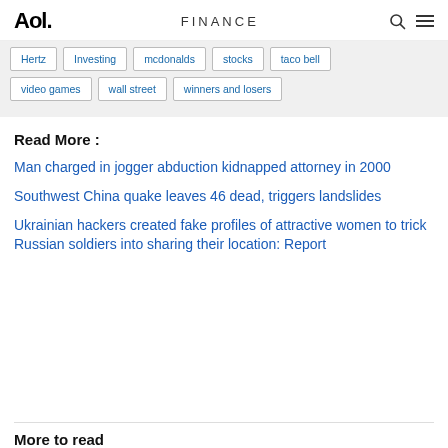Aol. FINANCE
Hertz
Investing
mcdonalds
stocks
taco bell
video games
wall street
winners and losers
Read More :
Man charged in jogger abduction kidnapped attorney in 2000
Southwest China quake leaves 46 dead, triggers landslides
Ukrainian hackers created fake profiles of attractive women to trick Russian soldiers into sharing their location: Report
More to read